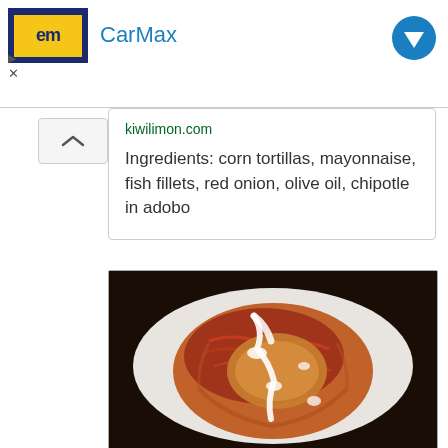[Figure (screenshot): CarMax advertisement banner with logo and blue arrow button]
kiwilimon.com
Ingredients: corn tortillas, mayonnaise, fish fillets, red onion, olive oil, chipotle in adobo
[Figure (photo): Close-up photo of a fish taco on a corn tortilla topped with red onion, chipotle sauce drizzle, on a white plate, dark background]